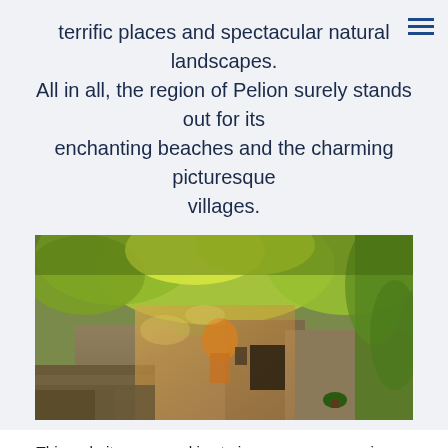terrific places and spectacular natural landscapes. All in all, the region of Pelion surely stands out for its enchanting beaches and the charming picturesque villages.
[Figure (photo): A picturesque village scene with stone buildings, lush green trees and climbing vines, warm golden lighting, traditional architecture.]
This website uses cookies to improve your experience. We'll assume you're ok with this, but you can opt-out if you wish. Cookie settings ACCEPT